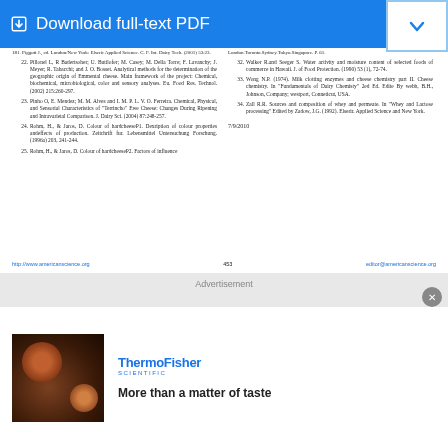Download full-text PDF
21. Pillonel L, R Badertsoher; U. Butikiofer; M. Casey; M. Della Torre; F. Lavanchy; J. Meyer; R. Tabacchi; and J. O. Bosset. Analytical methods for the determination of the geographic origin of Emmental cheese. Main framework of the project: Chemical, biochemical, microbiological, color and sensory analyses. Eu. Food Res. Technol. (2002) 215:260-297.
22. Pinho O, E. Mendez; M. M. Alves and I. M. P. L. V. O. Ferreira. Chemical, Physical, and Sensorial Characteristics of 'Terrincho' Ewe Cheese: Changes During Ripening and Intravarietal Comparison. J. Dairy Sci. (2004) 87:249-257.
24. Rohm, H., & Jaros, D. Colour of hardcheeseP1. Dexription of colour properties andeffects of production. Zeitchrift fur. Lebensmittel Untersuchung Forschung. (1996a) 203, 241-244.
25. Rohm, H., & Jaros, D. Colour of hardcheeseP2. Factors of influence
London.Toronto.Sydney.Tokyo.Singapore. P. 61.
32. Walker R.and Seeger S. Water activity and moisture content of selected foods of commerce in Hawaii. J. of Food Protection. (1990) 53 (1), 72-74.
33. Wong N.P. (1974). Milk clotting enzymes and cheese chemistry part II. Cheese chemistry. In 'Fundamentals of Dairy Chemisy' 2ed Ed. Edite By webb, B.H., Johnson, Company; westport, Conneticut, USA.
34. Zall R.R. Sources and composition of whey and permeate. In 'Whey and Lactose processing' Edited by Zadow, J.G. (1992). Elserir. Applied Science and New York.
7/9/2010
http://www.americanscience.org   453   editor@americanscience.org